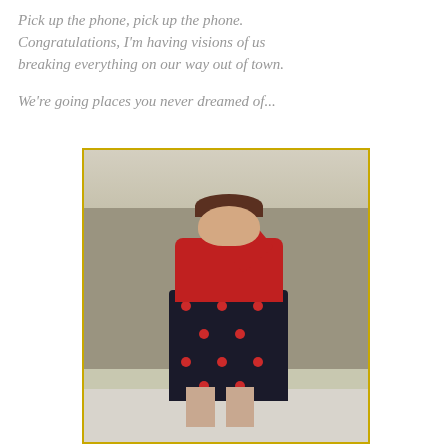Pick up the phone, pick up the phone. Congratulations, I'm having visions of us breaking everything on our way out of town.

We're going places you never dreamed of...
[Figure (photo): A woman in a red sweater and black floral skirt with red cherry/rose print stands outdoors in front of a stone wall with snow on the ground. She is wearing sunglasses and looking upward with one hand raised to her head.]